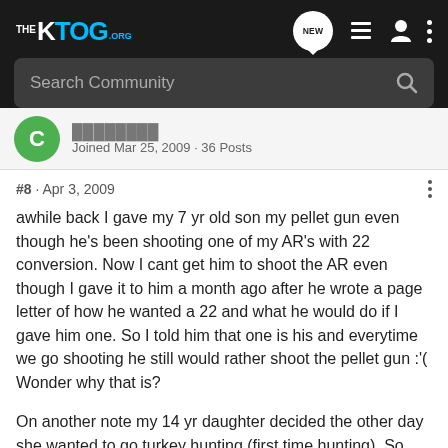THE KTOG.ORG — NEW — navigation icons
Search Community
Joined Mar 25, 2009 · 36 Posts
#8 · Apr 3, 2009
awhile back I gave my 7 yr old son my pellet gun even though he's been shooting one of my AR's with 22 conversion. Now I cant get him to shoot the AR even though I gave it to him a month ago after he wrote a page letter of how he wanted a 22 and what he would do if I gave him one. So I told him that one is his and everytime we go shooting he still would rather shoot the pellet gun :'( Wonder why that is?
On another note my 14 yr daughter decided the other day she wanted to go turkey hunting (first time hunting). So instead of going to Knobb Creek machine gun shoot :'( I'm going to take